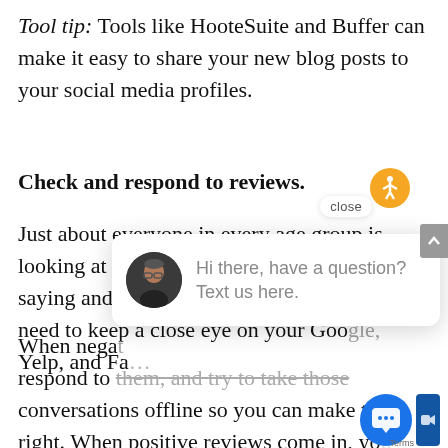Tool tip: Tools like HooteSuite and Buffer can make it easy to share your new blog posts to your social media profiles.
Check and respond to reviews.
Just about everyone in every age group is looking at your reviews to see what others are saying and how you're responding. So you need to keep a close eye on your Google, Yelp, and Fa[cebook]...
When nega[tive reviews come in, you need to] respond to them, and try to take those conversations offline so you can make thi[ngs] right. When positive reviews come in, you need to respond to those, too, and let your
[Figure (screenshot): Chat widget overlay showing an avatar of a man with glasses, and the text 'Hi there, have a question? Text us here.' A close button is visible above the widget. An orange accessibility icon (person in circle) is in the top right. A blue chat bubble button and video icon appear at the bottom right. A 'Terms' label is at the bottom right corner.]